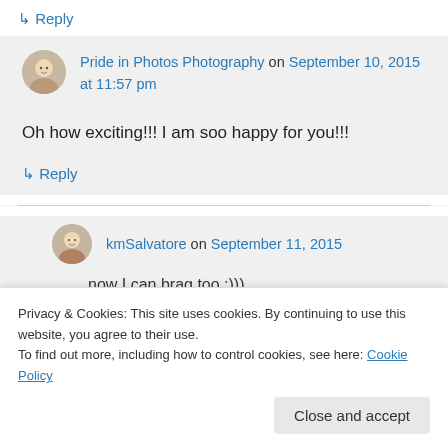↳ Reply
Pride in Photos Photography on September 10, 2015 at 11:57 pm
Oh how exciting!!! I am soo happy for you!!!
↳ Reply
kmSalvatore on September 11, 2015
now I can brag too ;)))
Privacy & Cookies: This site uses cookies. By continuing to use this website, you agree to their use.
To find out more, including how to control cookies, see here: Cookie Policy
Close and accept